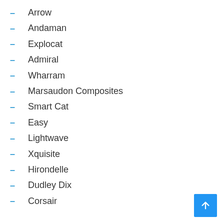Arrow
Andaman
Explocat
Admiral
Wharram
Marsaudon Composites
Smart Cat
Easy
Lightwave
Xquisite
Hirondelle
Dudley Dix
Corsair